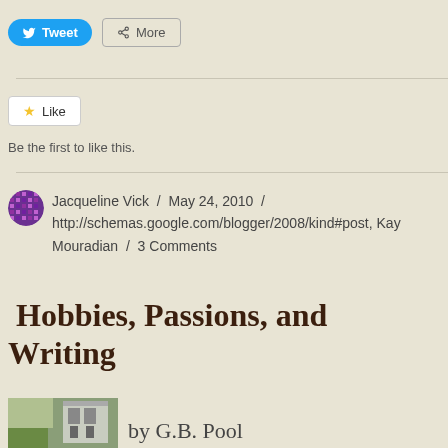[Figure (screenshot): Tweet button (blue rounded) and More button (grey outlined) social sharing buttons]
[Figure (screenshot): Like button with star icon]
Be the first to like this.
Jacqueline Vick / May 24, 2010 / http://schemas.google.com/blogger/2008/kind#post, Kay Mouradian / 3 Comments
Hobbies, Passions, and Writing
by G.B. Pool
[Figure (photo): Thumbnail photo showing a book or scene with greenery and a building in background]